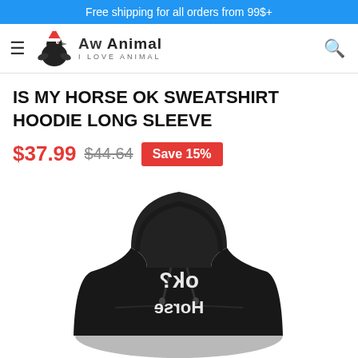Free shipping for all orders from 99$+
[Figure (logo): Aw Animal - I Love Animal logo with Christmas hat bird mascot]
IS MY HORSE OK SWEATSHIRT HOODIE LONG SLEEVE
$37.99  $44.64  Save 15%
[Figure (photo): Black hoodie sweatshirt with mirrored text reading 'Is my Horse ok?' on the front]